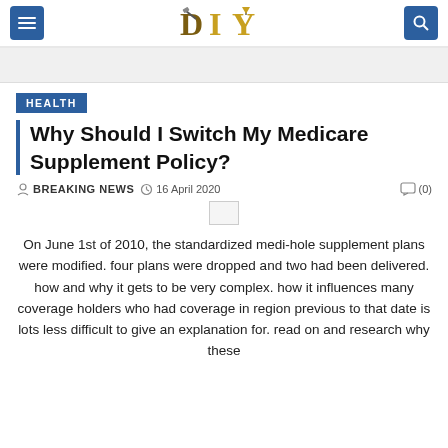DIY
HEALTH
Why Should I Switch My Medicare Supplement Policy?
BREAKING NEWS  16 April 2020  (0)
On June 1st of 2010, the standardized medi-hole supplement plans were modified. four plans were dropped and two had been delivered. how and why it gets to be very complex. how it influences many coverage holders who had coverage in region previous to that date is lots less difficult to give an explanation for. read on and research why these